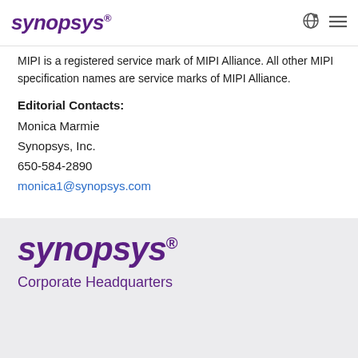SYNOPSYS
MIPI is a registered service mark of MIPI Alliance. All other MIPI specification names are service marks of MIPI Alliance.
Editorial Contacts:
Monica Marmie
Synopsys, Inc.
650-584-2890
monica1@synopsys.com
SOURCE Synopsys, Inc.
[Figure (logo): Synopsys logo in purple italic bold font with registered trademark symbol]
Corporate Headquarters